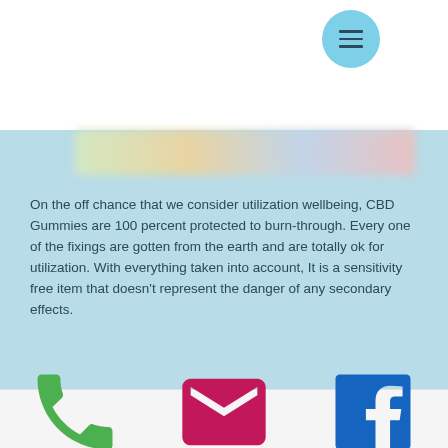[Figure (screenshot): Hamburger menu button (three horizontal lines) inside a light blue circle, positioned top right of white header area]
[Figure (photo): Blurred colorful product image strip (CBD gummies)]
On the off chance that we consider utilization wellbeing, CBD Gummies are 100 percent protected to burn-through. Every one of the fixings are gotten from the earth and are totally ok for utilization. With everything taken into account, It is a sensitivity free item that doesn't represent the danger of any secondary effects.
Green Ape Serenity Gummies – Final Word
Phone  Email  Facebook